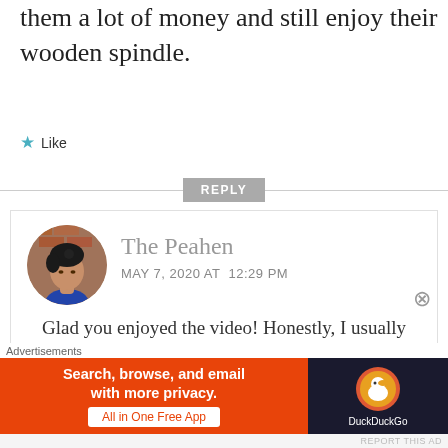them a lot of money and still enjoy their wooden spindle.
★ Like
REPLY
[Figure (photo): Round avatar photo of a woman with dark hair, against a brick wall background]
The Peahen
MAY 7, 2020 AT 12:29 PM
Glad you enjoyed the video! Honestly, I usually just keep spinning whether the tip is blunt or
Advertisements
[Figure (screenshot): DuckDuckGo advertisement banner: orange background with text 'Search, browse, and email with more privacy. All in One Free App' and DuckDuckGo logo on dark background]